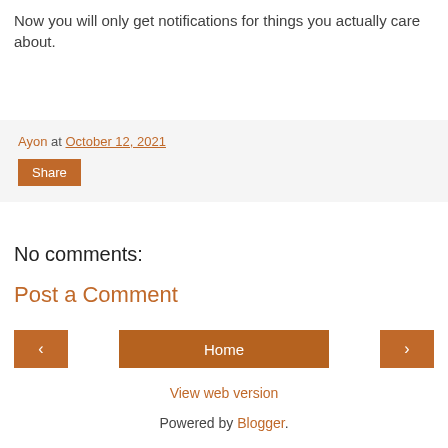Now you will only get notifications for things you actually care about.
Ayon at October 12, 2021
Share
No comments:
Post a Comment
‹
Home
›
View web version
Powered by Blogger.